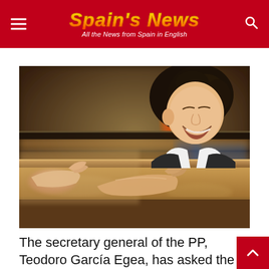Spain's News — All the News from Spain in English
[Figure (photo): A man in a suit gesturing with his fingers raised, sitting behind wooden benches in what appears to be a parliamentary chamber, smiling and pointing]
The secretary general of the PP, Teodoro García Egea, has asked the President of the Government, Pedro Sánchez, that when he meets the Generalitat, Quim Torra, show him the sentence